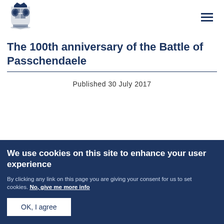[Figure (logo): UK Government Royal Coat of Arms crest logo in dark blue]
The 100th anniversary of the Battle of Passchendaele
Published 30 July 2017
We use cookies on this site to enhance your user experience
By clicking any link on this page you are giving your consent for us to set cookies. No, give me more info
OK, I agree